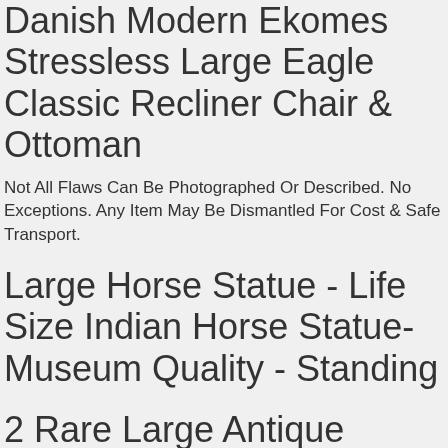Danish Modern Ekomes Stressless Large Eagle Classic Recliner Chair & Ottoman
Not All Flaws Can Be Photographed Or Described. No Exceptions. Any Item May Be Dismantled For Cost & Safe Transport.
Large Horse Statue - Life Size Indian Horse Statue- Museum Quality - Standing
2 Rare Large Antique Ocean Liner Bridge Brass 4 Dog Oblong Portholes